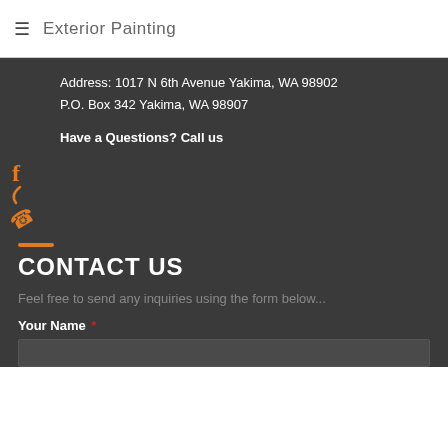≡  Exterior Painting
Address: 1017 N 6th Avenue Yakima, WA 98902
P.O. Box 342 Yakima, WA 98907
Have a Questions? Call us
[Figure (other): Facebook icon (f) and phone icon in orange]
CONTACT US
Feel free to send any inquiries using the form below...
Your Name *